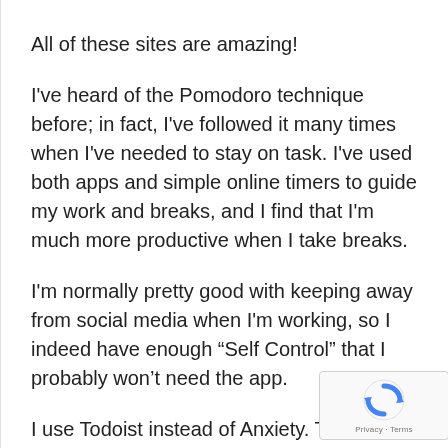All of these sites are amazing!
I've heard of the Pomodoro technique before; in fact, I've followed it many times when I've needed to stay on task. I've used both apps and simple online timers to guide my work and breaks, and I find that I'm much more productive when I take breaks.
I'm normally pretty good with keeping away from social media when I'm working, so I indeed have enough “Self Control” that I probably won't need the app.
I use Todoist instead of Anxiety. To tell the